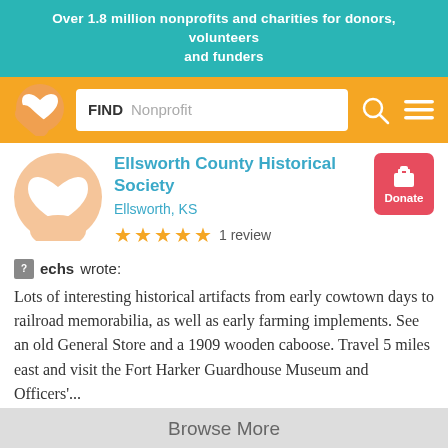Over 1.8 million nonprofits and charities for donors, volunteers and funders
[Figure (screenshot): Navigation bar with orange background, logo (Q with heart), search box labeled FIND Nonprofit, search icon, and hamburger menu icon]
Ellsworth County Historical Society
Ellsworth, KS
★★★★★ 1 review
echs wrote:
Lots of interesting historical artifacts from early cowtown days to railroad memorabilia, as well as early farming implements. See an old General Store and a 1909 wooden caboose. Travel 5 miles east and visit the Fort Harker Guardhouse Museum and Officers'...
more »
Browse More